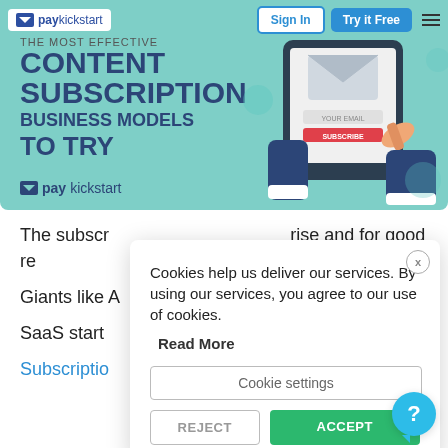[Figure (illustration): PayKickstart website screenshot showing a hero banner with 'The Most Effective Content Subscription Business Models To Try' headline, navigation bar with Sign In and Try it Free buttons, and a tablet illustration with email subscription form]
The subscr... rise and for good re...
Giants like A... leveraged it into billion...
SaaS start...
Subscriptio... ck.
[Figure (screenshot): Cookie consent modal dialog with text 'Cookies help us deliver our services. By using our services, you agree to our use of cookies.' and buttons for Read More, Cookie settings, Reject, and Accept]